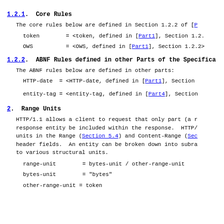1.2.1.  Core Rules
The core rules below are defined in Section 1.2.2 of [P
token        = <token, defined in [Part1], Section 1.2.
OWS          = <OWS, defined in [Part1], Section 1.2.2>
1.2.2.  ABNF Rules defined in other Parts of the Specifica
The ABNF rules below are defined in other parts:
HTTP-date  = <HTTP-date, defined in [Part1], Section
entity-tag = <entity-tag, defined in [Part4], Section
2.  Range Units
HTTP/1.1 allows a client to request that only part (a r response entity be included within the response.  HTTP/ units in the Range (Section 5.4) and Content-Range (Sec header fields.  An entity can be broken down into subra to various structural units.
range-unit        = bytes-unit / other-range-unit
bytes-unit        = "bytes"
other-range-unit = token